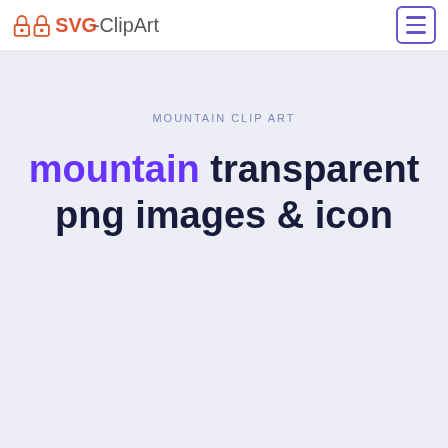SVG-ClipArt [logo] [hamburger menu]
MOUNTAIN CLIP ART
mountain transparent png images & icon